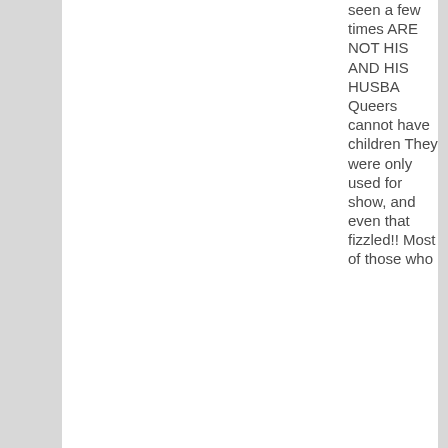seen a few times ARE NOT HIS AND HIS HUSBA Queers cannot have children They were only used for show, and even that fizzled!! Most of those who